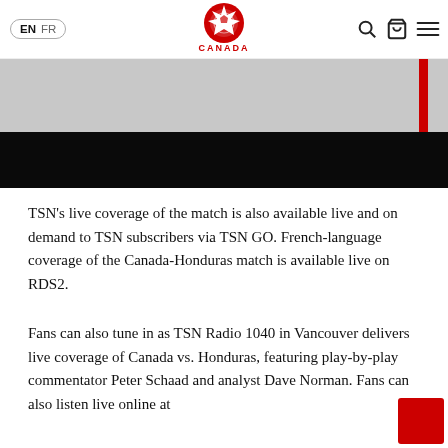EN FR — Canada Soccer logo — search, cart, menu icons
[Figure (photo): Hero image showing a Canada Soccer jersey/player photo (white top portion) with a black banner overlay at the bottom and a red vertical stripe on the right side.]
TSN’s live coverage of the match is also available live and on demand to TSN subscribers via TSN GO. French-language coverage of the Canada-Honduras match is available live on RDS2.
Fans can also tune in as TSN Radio 1040 in Vancouver delivers live coverage of Canada vs. Honduras, featuring play-by-play commentator Peter Schaad and analyst Dave Norman. Fans can also listen live online at